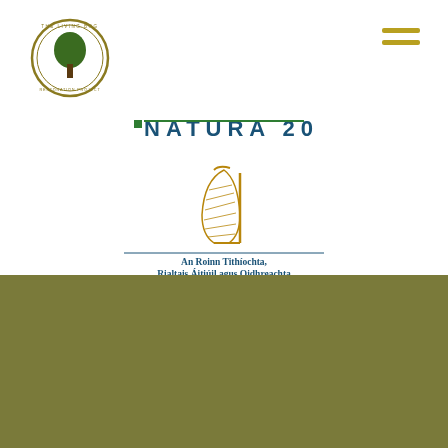[Figure (logo): The Living Bog circular logo with tree silhouette, gold and green colours]
[Figure (logo): Natura 2000 logo with green leaf and teal text]
[Figure (logo): Irish government harp emblem above department name in Irish and English]
[Figure (other): Hamburger menu icon with three gold horizontal bars]
Contact Us
Peatlands Management Unit,
Department of Housing, Local Government and Heritage,
Newtown Road,
Wexford,